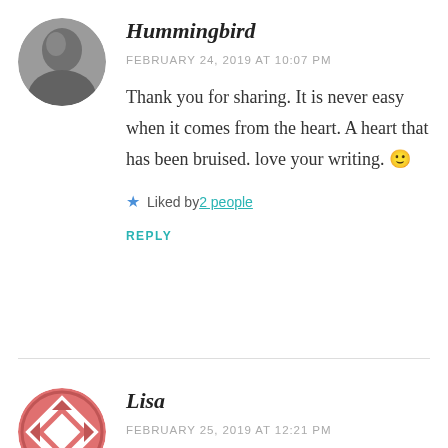[Figure (photo): Circular avatar photo of Hummingbird — black and white photo of a person]
Hummingbird
FEBRUARY 24, 2019 AT 10:07 PM
Thank you for sharing. It is never easy when it comes from the heart. A heart that has been bruised. love your writing. 🙂
★ Liked by 2 people
REPLY
[Figure (logo): Circular avatar icon for Lisa — geometric diamond/quilt pattern in coral/salmon and white]
Lisa
FEBRUARY 25, 2019 AT 12:21 PM
Thank you. Processing through words and